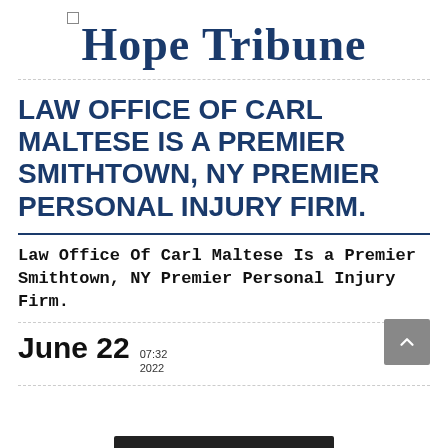Hope Tribune
LAW OFFICE OF CARL MALTESE IS A PREMIER SMITHTOWN, NY PREMIER PERSONAL INJURY FIRM.
Law Office Of Carl Maltese Is a Premier Smithtown, NY Premier Personal Injury Firm.
June 22  07:32  2022